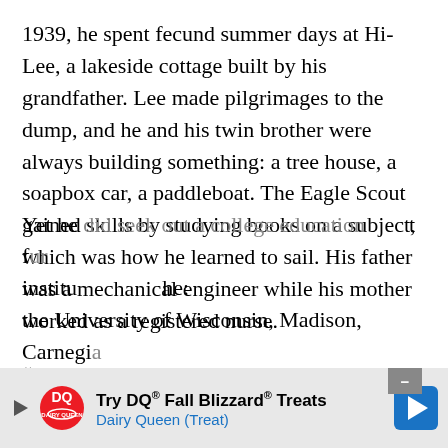1939, he spent fecund summer days at Hi-Lee, a lakeside cottage built by his grandfather. Lee made pilgrimages to the dump, and he and his twin brother were always building something: a tree house, a soapbox car, a paddleboat. The Eagle Scout gained skills by studying books on a subject, which was how he learned to sail. His father was a mechanical engineer while his mother worked as a registered nurse.
“The general thought around our house was that if you read all the Harvard Classics, that would be as good as a college education,” Lee says.
Yet he did seek out a college education — at four institu... he: the University of Wisconsin, Madison, Carnegie...
[Figure (other): Dairy Queen advertisement banner overlay: 'Try DQ® Fall Blizzard® Treats, Dairy Queen (Treat)' with DQ logo and navigation arrow]